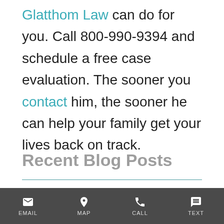Glatthom Law can do for you. Call 800-990-9394 and schedule a free case evaluation. The sooner you contact him, the sooner he can help your family get your lives back on track.
Recent Blog Posts
EMAIL | MAP | CALL | TEXT